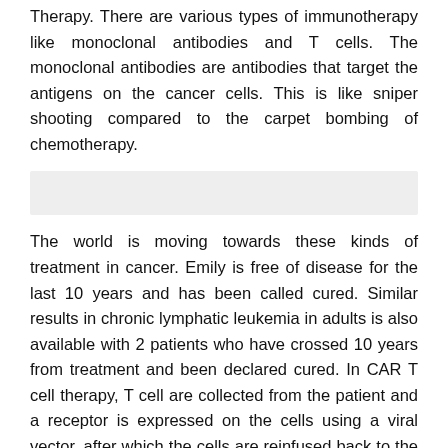Therapy. There are various types of immunotherapy like monoclonal antibodies and T cells. The monoclonal antibodies are antibodies that target the antigens on the cancer cells. This is like sniper shooting compared to the carpet bombing of chemotherapy.
[Figure (other): Gray rectangular placeholder box]
The world is moving towards these kinds of treatment in cancer. Emily is free of disease for the last 10 years and has been called cured. Similar results in chronic lymphatic leukemia in adults is also available with 2 patients who have crossed 10 years from treatment and been declared cured. In CAR T cell therapy, T cell are collected from the patient and a receptor is expressed on the cells using a viral vector, after which the cells are reinfused back to the patient, wherein these cells go and bind to the cancer cells and destroy them. This kind of therapy has known to produce long term cures in leukemia, lymphoma and myeloma. Till recently, this therapy was available only in the US,